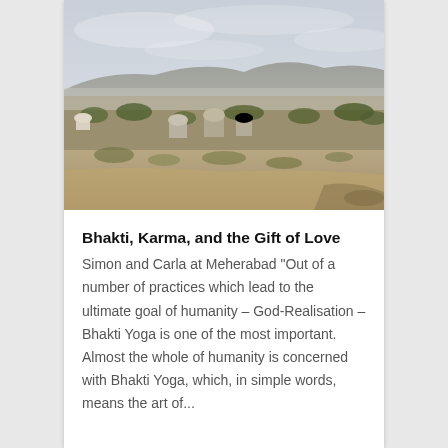[Figure (photo): Aerial/elevated landscape photograph of Meherabad, India — a dry, sandy terrain with scrub vegetation, a few domed mausoleums or shrines, scattered trees, and a village stretching into the hazy distance with hills on the horizon under a cloudy sky.]
Bhakti, Karma, and the Gift of Love
Simon and Carla at Meherabad "Out of a number of practices which lead to the ultimate goal of humanity – God-Realisation – Bhakti Yoga is one of the most important. Almost the whole of humanity is concerned with Bhakti Yoga, which, in simple words, means the art of...